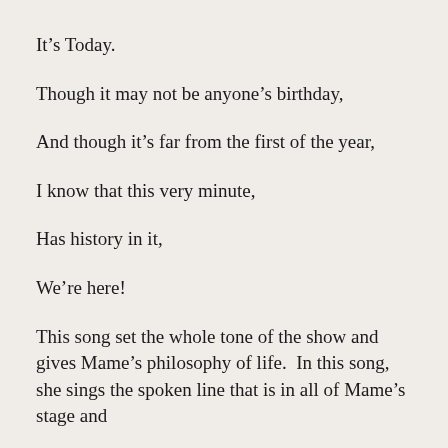It's Today.
Though it may not be anyone's birthday,
And though it's far from the first of the year,
I know that this very minute,
Has history in it,
We're here!
This song set the whole tone of the show and gives Mame's philosophy of life.  In this song, she sings the spoken line that is in all of Mame's stage and